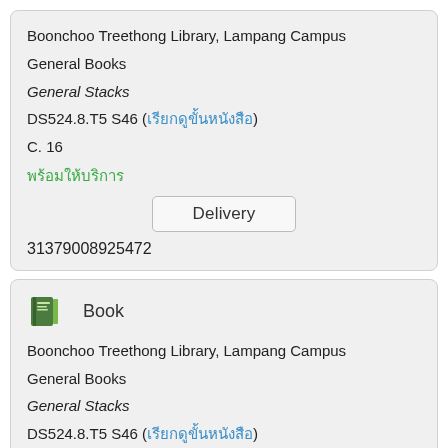Boonchoo Treethong Library, Lampang Campus
General Books
General Stacks
DS524.8.T5 S46 (เรียกดูขั้นหนังสือ)
C. 16
พร้อมให้บริการ
Delivery
31379008925472
[Figure (illustration): Book icon - green book illustration]
Book
Boonchoo Treethong Library, Lampang Campus
General Books
General Stacks
DS524.8.T5 S46 (เรียกดูขั้นหนังสือ)
C. 24
พร้อมให้บริการ